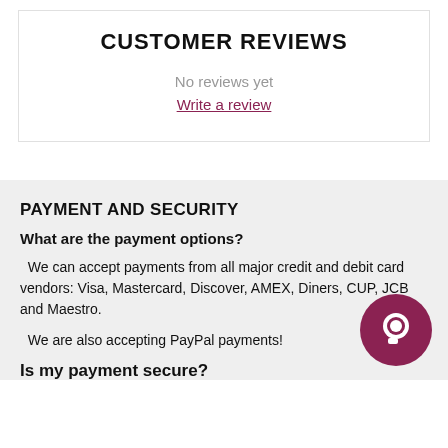CUSTOMER REVIEWS
No reviews yet
Write a review
PAYMENT AND SECURITY
What are the payment options?
We can accept payments from all major credit and debit card vendors: Visa, Mastercard, Discover, AMEX, Diners, CUP, JCB and Maestro.
We are also accepting PayPal payments!
Is my payment secure?